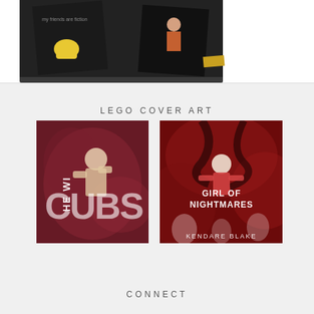[Figure (photo): Top portion of a webpage showing LEGO figures styled as book cover art, with text 'my friends are fiction' visible on dark background]
LEGO COVER ART
[Figure (photo): LEGO recreation of a dark red/maroon book cover titled 'The Wills' by Arie Rusko, featuring a LEGO figure]
[Figure (photo): LEGO recreation of 'Girl of Nightmares' by Kendare Blake book cover, featuring a LEGO girl figure on a red swirling background]
CONNECT